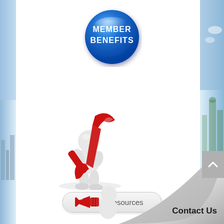[Figure (illustration): Blue glossy circular button with white bold text reading MEMBER BENEFITS]
[Figure (illustration): 3D white figure holding a large red wrench/spanner tool, representing tools and resources]
[Figure (other): Rounded rectangle button with grey text reading Tools & Resources]
[Figure (illustration): 3D white figure holding a red megaphone/bullhorn, partially visible at bottom of page]
[Figure (illustration): Page curl effect at bottom-right corner revealing grey background with city skyline]
Contact Us